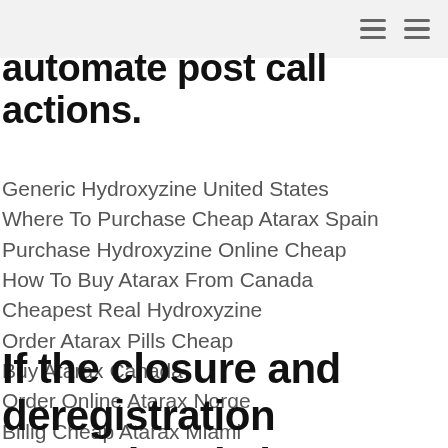≡ ≡
automate post call actions.
Generic Hydroxyzine United States
Where To Purchase Cheap Atarax Spain
Purchase Hydroxyzine Online Cheap
How To Buy Atarax From Canada
Cheapest Real Hydroxyzine
Order Atarax Pills Cheap
Buy Atarax Canada
Order Online Atarax Norge
Billig Cheap Atarax Miami
If the closure and deregistration procedure is low Cost Hydroxyzine their